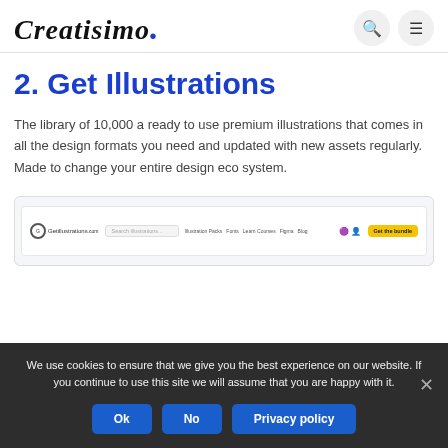Creatisimo.
2. Get Illustrations
The library of 10,000 a ready to use premium illustrations that comes in all the design formats you need and updated with new assets regularly. Made to change your entire design eco system.
[Figure (screenshot): Screenshot of the GetIllustrations.com website header with logo, search bar, navigation links, and a yellow 'Get the bundle' button]
We use cookies to ensure that we give you the best experience on our website. If you continue to use this site we will assume that you are happy with it.
Ok
No
Privacy policy